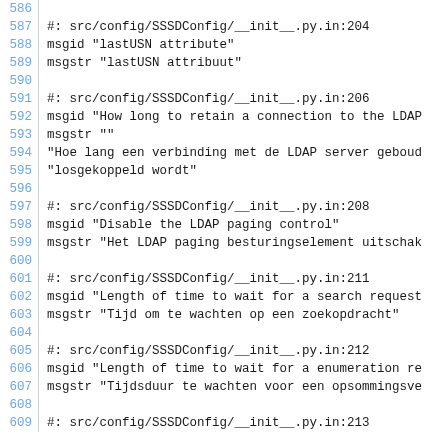Code listing lines 586-609: gettext PO file entries for SSSD Dutch translation
| line | content |
| --- | --- |
| 586 |  |
| 587 | #: src/config/SSSDConfig/__init__.py.in:204 |
| 588 | msgid "lastUSN attribute" |
| 589 | msgstr "lastUSN attribuut" |
| 590 |  |
| 591 | #: src/config/SSSDConfig/__init__.py.in:206 |
| 592 | msgid "How long to retain a connection to the LDAP... |
| 593 | msgstr "" |
| 594 | "Hoe lang een verbinding met de LDAP server geboud... |
| 595 | "losgekoppeld wordt" |
| 596 |  |
| 597 | #: src/config/SSSDConfig/__init__.py.in:208 |
| 598 | msgid "Disable the LDAP paging control" |
| 599 | msgstr "Het LDAP paging besturingselement uitschak... |
| 600 |  |
| 601 | #: src/config/SSSDConfig/__init__.py.in:211 |
| 602 | msgid "Length of time to wait for a search request... |
| 603 | msgstr "Tijd om te wachten op een zoekopdracht" |
| 604 |  |
| 605 | #: src/config/SSSDConfig/__init__.py.in:212 |
| 606 | msgid "Length of time to wait for a enumeration re... |
| 607 | msgstr "Tijdsduur te wachten voor een opsommingsve... |
| 608 |  |
| 609 | #: src/config/SSSDConfig/__init__.py.in:213 |